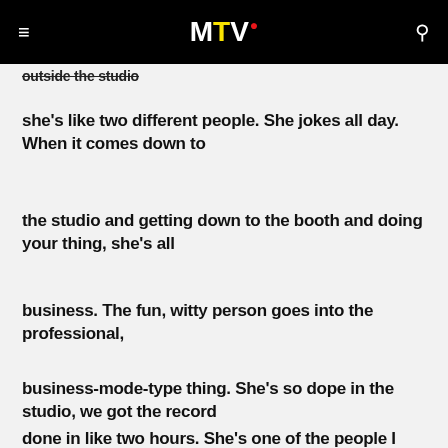MTV
outside the studio
she's like two different people. She jokes all day. When it comes down to
the studio and getting down to the booth and doing your thing, she's all
business. The fun, witty person goes into the professional,
business-mode-type thing. She's so dope in the studio, we got the record
done in like two hours. She's one of the people I look up